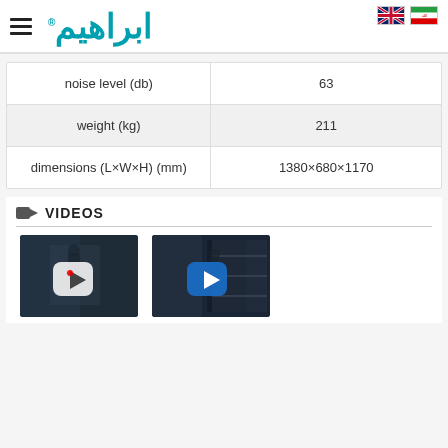[Figure (logo): Ibrahim brand logo with hamburger menu icon and Arabic/Persian logo text in teal color, with UK and Iran flags in top right]
| Property | Value |
| --- | --- |
| noise level (db) | 63 |
| weight (kg) | 211 |
| dimensions (L×W×H) (mm) | 1380×680×1170 |
VIDEOS
[Figure (screenshot): Two video thumbnails showing industrial/workshop scenes with play buttons overlay]